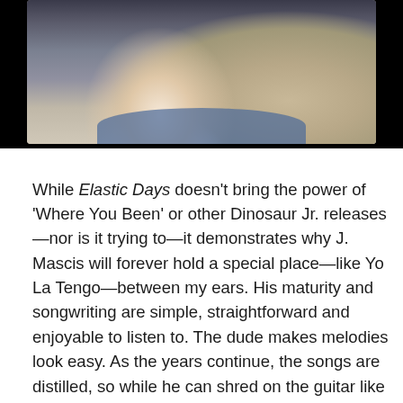[Figure (photo): Cropped photo of an older man with a long white beard and long white hair, wearing a blue shirt, outdoors with rocks visible in the background. Dark border around the image.]
While Elastic Days doesn't bring the power of 'Where You Been' or other Dinosaur Jr. releases—nor is it trying to—it demonstrates why J. Mascis will forever hold a special place—like Yo La Tengo—between my ears. His maturity and songwriting are simple, straightforward and enjoyable to listen to. The dude makes melodies look easy. As the years continue, the songs are distilled, so while he can shred on the guitar like a Jimmy Page, his perceived vocal diffidence provides an endearing counterpoint.
When the rain really came down, I noticed it again, but honestly the record wasn't hitched to rain drops quite like Chopin's prelude or even encapsulated in a pop tune like